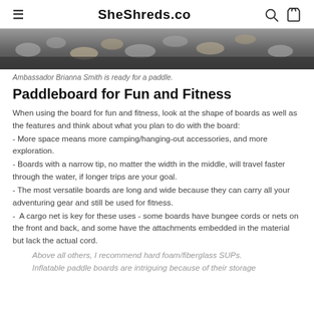SheShreds.co
[Figure (photo): Partial photo showing rocks/pebbles and a dark background, cropped at top — ambassador Brianna Smith paddle scene]
Ambassador Brianna Smith is ready for a paddle.
Paddleboard for Fun and Fitness
When using the board for fun and fitness, look at the shape of boards as well as the features and think about what you plan to do with the board:
- More space means more camping/hanging-out accessories, and more exploration.
- Boards with a narrow tip, no matter the width in the middle, will travel faster through the water, if longer trips are your goal.
- The most versatile boards are long and wide because they can carry all your adventuring gear and still be used for fitness.
-  A cargo net is key for these uses - some boards have bungee cords or nets on the front and back, and some have the attachments embedded in the material but lack the actual cord.
Above all others, I recommend hard foam/fiberglass SUPs. Inflatable paddle boards are intriguing because of their storage